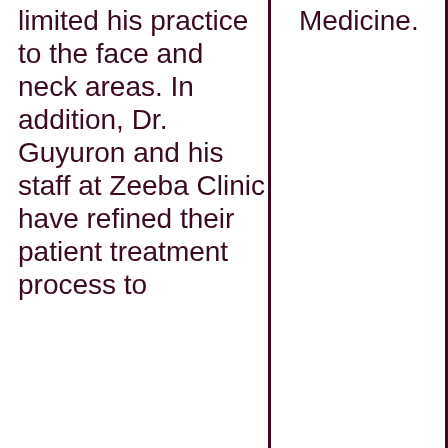limited his practice to the face and neck areas. In addition, Dr. Guyuron and his staff at Zeeba Clinic have refined their patient treatment process to
Medicine.